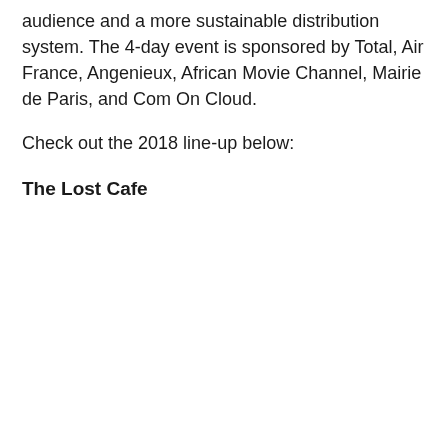audience and a more sustainable distribution system. The 4-day event is sponsored by Total, Air France, Angenieux, African Movie Channel, Mairie de Paris, and Com On Cloud.
Check out the 2018 line-up below:
The Lost Cafe